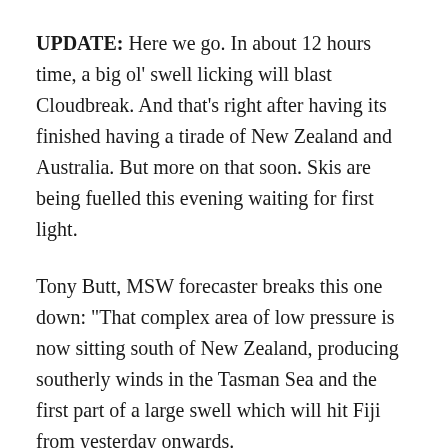UPDATE: Here we go. In about 12 hours time, a big ol' swell licking will blast Cloudbreak. And that's right after having its finished having a tirade of New Zealand and Australia. But more on that soon. Skis are being fuelled this evening waiting for first light.
Tony Butt, MSW forecaster breaks this one down: "That complex area of low pressure is now sitting south of New Zealand, producing southerly winds in the Tasman Sea and the first part of a large swell which will hit Fiji from yesterday onwards.
"Over the next 24 hours or so, the main system stays in place, and a low develops off the southwest tip of New Zealand, with even more intense low pressure for...